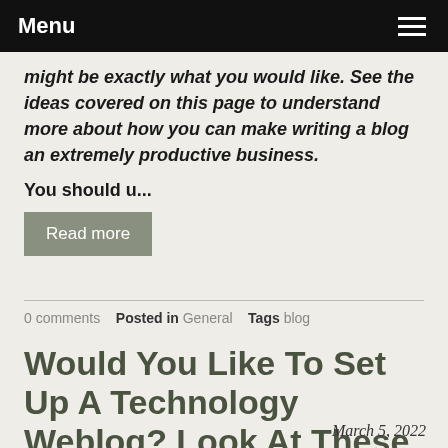Menu
might be exactly what you would like. See the ideas covered on this page to understand more about how you can make writing a blog an extremely productive business.
You should u...
Read more
0 comments  Posted in General  Tags blog
Would You Like To Set Up A Technology Weblog? Look At These Concepts!
March 5, 2022